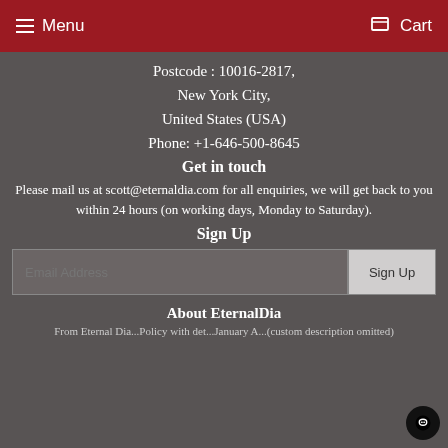Menu  Cart
Postcode : 10016-2817,
New York City,
United States (USA)
Phone: +1-646-500-8645
Get in touch
Please mail us at scott@eternaldia.com for all enquiries, we will get back to you within 24 hours (on working days, Monday to Saturday).
Sign Up
Email Address
About EternalDia